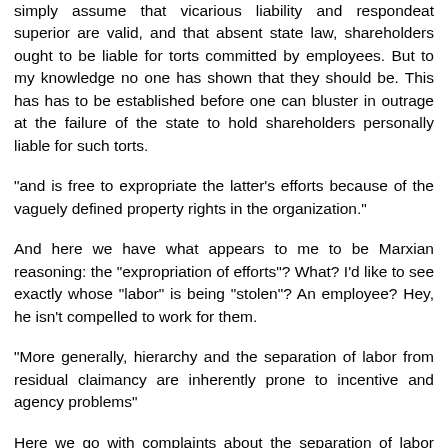simply assume that vicarious liability and respondeat superior are valid, and that absent state law, shareholders ought to be liable for torts committed by employees. But to my knowledge no one has shown that they should be. This has has to be established before one can bluster in outrage at the failure of the state to hold shareholders personally liable for such torts.
"and is free to expropriate the latter's efforts because of the vaguely defined property rights in the organization."
And here we have what appears to me to be Marxian reasoning: the "expropriation of efforts"? What? I'd like to see exactly whose "labor" is being "stolen"? An employee? Hey, he isn't compelled to work for them.
"More generally, hierarchy and the separation of labor from residual claimancy are inherently prone to incentive and agency problems"
Here we go with complaints about the separation of labor from "residual claimancy." Libertarianism does not require labor to not be "separated" from XYZ; it does not base